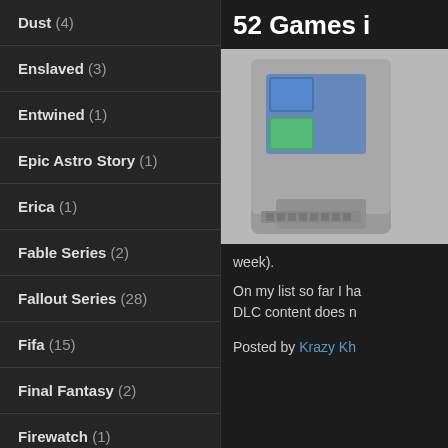Dust (4)
Enslaved (3)
Entwined (1)
Epic Astro Story (1)
Erica (1)
Fable Series (2)
Fallout Series (28)
Fifa (15)
Final Fantasy (2)
Firewatch (1)
Flappy Bird (2)
Fluxx (1)
Football Chairman (12)
Fortnite (2)
52 Games i
[Figure (photo): Photo of a grey Nintendo-style game cartridge with game label stickers on it, shown at an angle against a light grey background.]
week).
On my list so far I ha DLC content does n
Posted by Krazy Kh